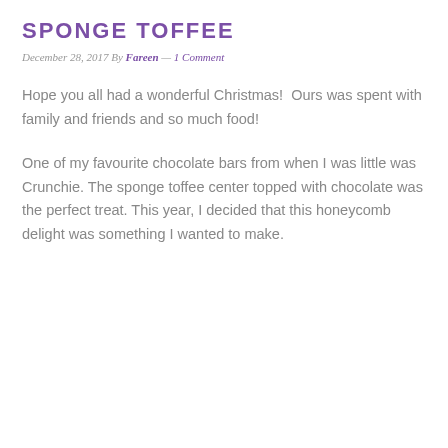SPONGE TOFFEE
December 28, 2017 By Fareen — 1 Comment
Hope you all had a wonderful Christmas!  Ours was spent with family and friends and so much food!
One of my favourite chocolate bars from when I was little was Crunchie. The sponge toffee center topped with chocolate was the perfect treat. This year, I decided that this honeycomb delight was something I wanted to make.